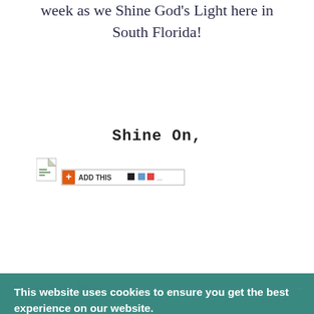week as we Shine God's Light here in South Florida!
Shine On,
[Figure (screenshot): AddThis social sharing widget with green page icon and orange plus button, showing icons for various sharing options]
Share This Post:
This website uses cookies to ensure you get the best experience on our website.
Learn more
Decline
Accept
← PREVIOUS
NEXT →